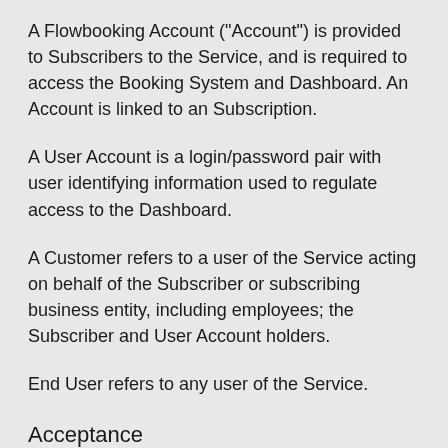A Flowbooking Account ("Account") is provided to Subscribers to the Service, and is required to access the Booking System and Dashboard. An Account is linked to an Subscription.
A User Account is a login/password pair with user identifying information used to regulate access to the Dashboard.
A Customer refers to a user of the Service acting on behalf of the Subscriber or subscribing business entity, including employees; the Subscriber and User Account holders.
End User refers to any user of the Service.
Acceptance
The Service is offered subject to your acceptance